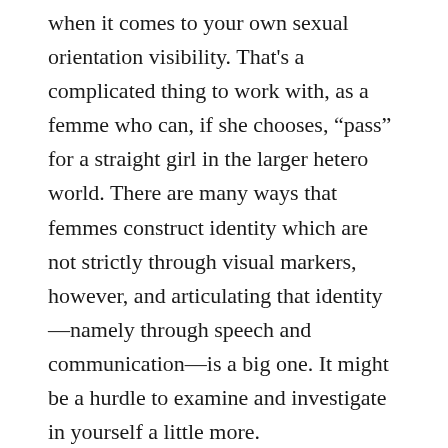when it comes to your own sexual orientation visibility. That's a complicated thing to work with, as a femme who can, if she chooses, “pass” for a straight girl in the larger hetero world. There are many ways that femmes construct identity which are not strictly through visual markers, however, and articulating that identity—namely through speech and communication—is a big one. It might be a hurdle to examine and investigate in yourself a little more.
What say you all? Do you have more